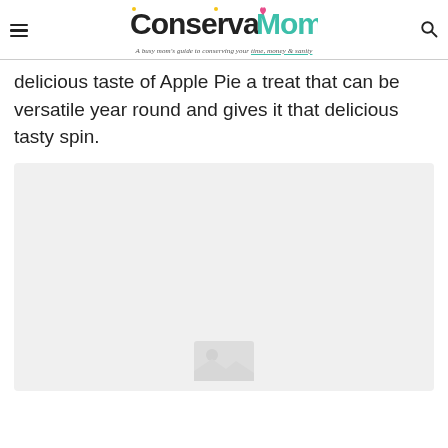ConservaMom — A busy mom's guide to conserving your time, money & sanity
delicious taste of Apple Pie a treat that can be versatile year round and gives it that delicious tasty spin.
[Figure (photo): Large placeholder image area, light gray background, partially visible content]